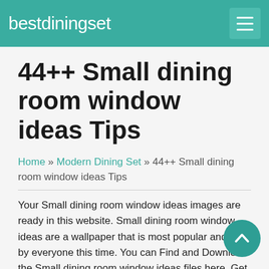bestdiningset
44++ Small dining room window ideas Tips
Home » Modern Dining Set » 44++ Small dining room window ideas Tips
Your Small dining room window ideas images are ready in this website. Small dining room window ideas are a wallpaper that is most popular and liked by everyone this time. You can Find and Download the Small dining room window ideas files here. Get all royalty-free wallpape
If you're looking for small dining room window ideas images information connected with to the small dining